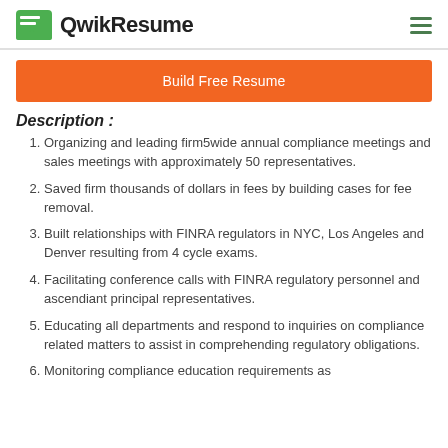QwikResume
Build Free Resume
Description :
Organizing and leading firm5wide annual compliance meetings and sales meetings with approximately 50 representatives.
Saved firm thousands of dollars in fees by building cases for fee removal.
Built relationships with FINRA regulators in NYC, Los Angeles and Denver resulting from 4 cycle exams.
Facilitating conference calls with FINRA regulatory personnel and ascendiant principal representatives.
Educating all departments and respond to inquiries on compliance related matters to assist in comprehending regulatory obligations.
Monitoring compliance education requirements as